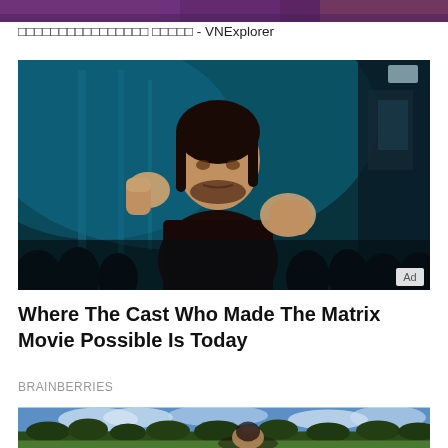[Figure (photo): Partial top strip showing a purple-toned image, cropped at top of page]
□□□□□□□□□□□□□□□□ □□□□□ - VNExplorer
[Figure (photo): A man (Keanu Reeves as Neo from The Matrix) in a fighting pose with one fist raised and other hand extended, against a teal-blue background with silhouetted crowd. 'Ad' badge in bottom-right corner.]
Where The Cast Who Made The Matrix Movie Possible Is Today
BRAINBERRIES
[Figure (photo): Bottom portion shows a woman outdoors with sky and trees in background, cropped at bottom of page]